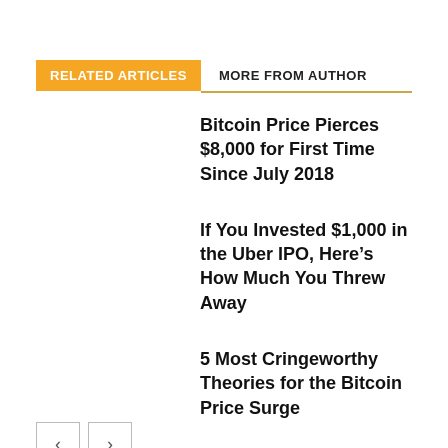RELATED ARTICLES
MORE FROM AUTHOR
Bitcoin Price Pierces $8,000 for First Time Since July 2018
If You Invested $1,000 in the Uber IPO, Here's How Much You Threw Away
5 Most Cringeworthy Theories for the Bitcoin Price Surge